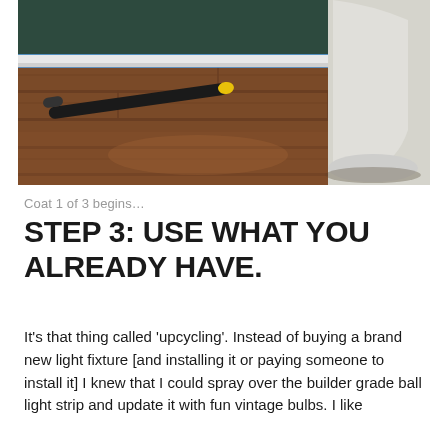[Figure (photo): Photo of a bathroom floor renovation showing wood-look laminate flooring being installed, with blue painter's tape along the baseboard, a black and yellow tool (tapping block or pencil) on the floor, and the base of a white toilet visible on the right side.]
Coat 1 of 3 begins…
STEP 3: USE WHAT YOU ALREADY HAVE.
It's that thing called 'upcycling'. Instead of buying a brand new light fixture [and installing it or paying someone to install it] I knew that I could spray over the builder grade ball light strip and update it with fun vintage bulbs. I like